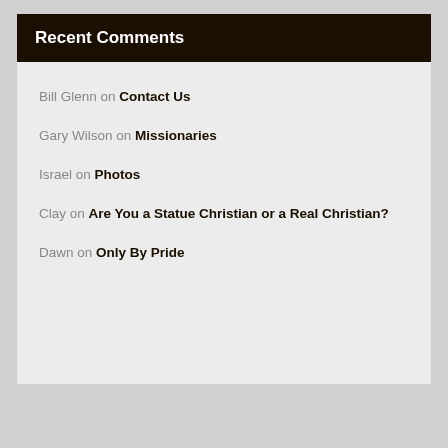Recent Comments
Bill Glenn on Contact Us
Gary Wilson on Missionaries
Israel on Photos
Clay on Are You a Statue Christian or a Real Christian?
Dawn on Only By Pride